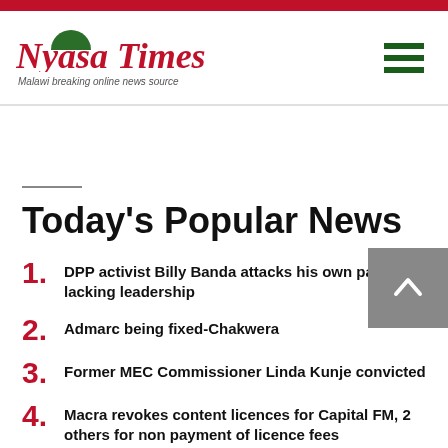Nyasa Times – Malawi breaking online news source
Today's Popular News
1. DPP activist Billy Banda attacks his own party lacking leadership
2. Admarc being fixed-Chakwera
3. Former MEC Commissioner Linda Kunje convicted
4. Macra revokes content licences for Capital FM, 2 others for non payment of licence fees